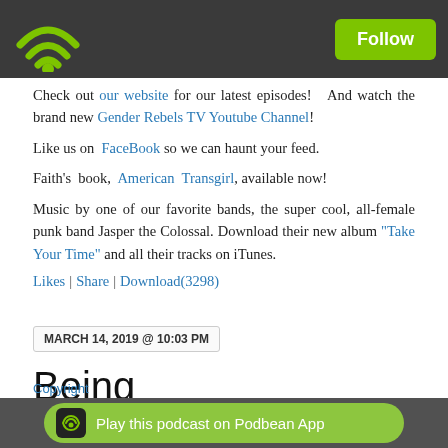Podbean podcast app header with wifi logo and Follow button
Check out our website for our latest episodes! And watch the brand new Gender Rebels TV Youtube Channel!
Like us on FaceBook so we can haunt your feed.
Faith's book, American Transgirl, available now!
Music by one of our favorite bands, the super cool, all-female punk band Jasper the Colossal. Download their new album "Take Your Time" and all their tracks on iTunes.
Likes | Share | Download(3298)
MARCH 14, 2019 @ 10:03 PM
Being Transgender in
Play this podcast on Podbean App